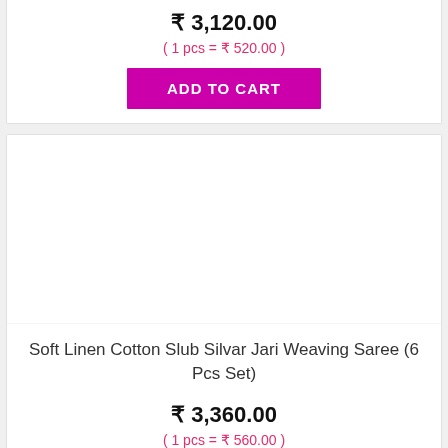₹ 3,120.00
( 1 pcs = ₹ 520.00 )
ADD TO CART
[Figure (photo): Product image area for Soft Linen Cotton Slub Silvar Jari Weaving Saree (6 Pcs Set) — blank white space]
Soft Linen Cotton Slub Silvar Jari Weaving Saree (6 Pcs Set)
₹ 3,360.00
( 1 pcs = ₹ 560.00 )
ADD TO CART